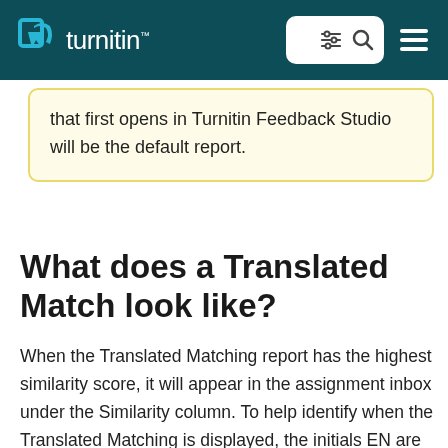turnitin
that first opens in Turnitin Feedback Studio will be the default report.
What does a Translated Match look like?
When the Translated Matching report has the highest similarity score, it will appear in the assignment inbox under the Similarity column. To help identify when the Translated Matching is displayed, the initials EN are shown within the color representation of the Similarity Score.